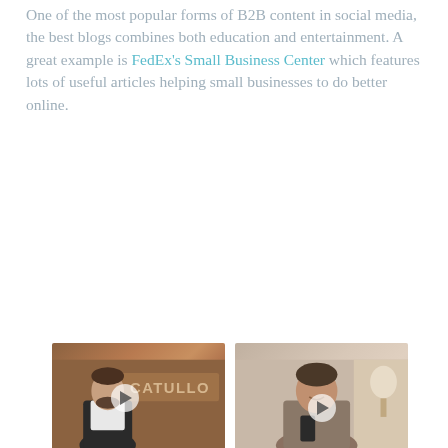One of the most popular forms of B2B content in social media, the best blogs combines both education and entertainment. A great example is FedEx's Small Business Center which features lots of useful articles helping small businesses to do better online.
[Figure (photo): Screenshot of FedEx Small Business Center blog showing two large article cards: 'How my butcher shop succeeded online' with a man in an apron in front of a CATULLO sign, and 'A tale of two successes: business owners manage their growth' with a woman smiling and holding a phone. Below are four smaller article cards: '10 tips to make digital marketing work', 'Great decisions — and epic fails', 'thredUP shares their secrets of success', and 'See all success stories'.]